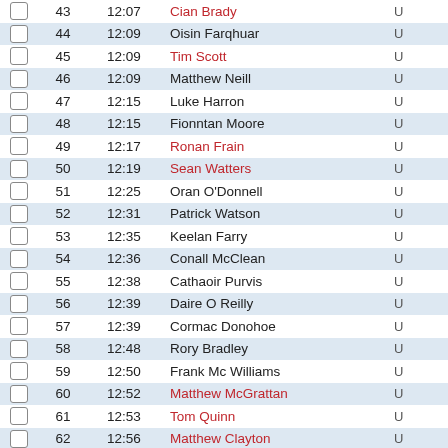|  | # | Time | Name |  |
| --- | --- | --- | --- | --- |
| ☐ | 43 | 12:07 | Cian Brady | U |
| ☐ | 44 | 12:09 | Oisin Farqhuar | U |
| ☐ | 45 | 12:09 | Tim Scott | U |
| ☐ | 46 | 12:09 | Matthew Neill | U |
| ☐ | 47 | 12:15 | Luke Harron | U |
| ☐ | 48 | 12:15 | Fionntan Moore | U |
| ☐ | 49 | 12:17 | Ronan Frain | U |
| ☐ | 50 | 12:19 | Sean Watters | U |
| ☐ | 51 | 12:25 | Oran O'Donnell | U |
| ☐ | 52 | 12:31 | Patrick Watson | U |
| ☐ | 53 | 12:35 | Keelan Farry | U |
| ☐ | 54 | 12:36 | Conall McClean | U |
| ☐ | 55 | 12:38 | Cathaoir Purvis | U |
| ☐ | 56 | 12:39 | Daire O Reilly | U |
| ☐ | 57 | 12:39 | Cormac Donohoe | U |
| ☐ | 58 | 12:48 | Rory Bradley | U |
| ☐ | 59 | 12:50 | Frank Mc Williams | U |
| ☐ | 60 | 12:52 | Matthew McGrattan | U |
| ☐ | 61 | 12:53 | Tom Quinn | U |
| ☐ | 62 | 12:56 | Matthew Clayton | U |